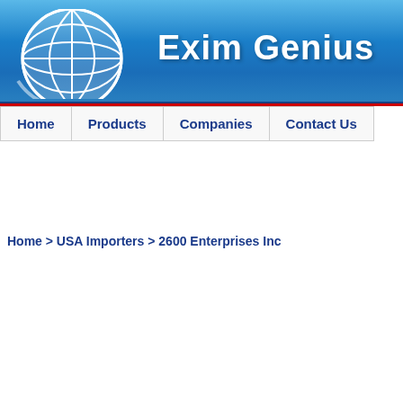[Figure (logo): Exim Genius website header with globe logo and brand name 'Exim Genius' on blue gradient background]
Home | Products | Companies | Contact Us
Home > USA Importers > 2600 Enterprises Inc
| List | Importer or Buyer |
| --- | --- |
|  | United State
2600 Enterprises Inc
Middle Island Ny 11953 Us |
2600 Enterprises Inc
Middle Island Ny 11953 Us